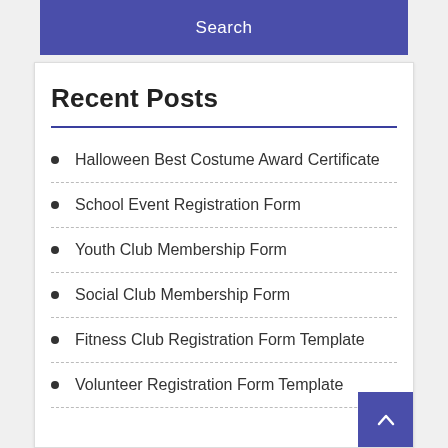Search
Recent Posts
Halloween Best Costume Award Certificate
School Event Registration Form
Youth Club Membership Form
Social Club Membership Form
Fitness Club Registration Form Template
Volunteer Registration Form Template